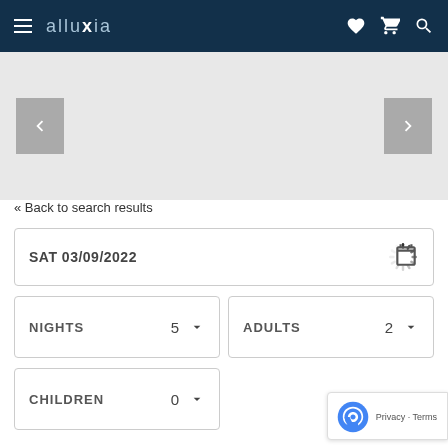alluXia — navigation bar with hamburger menu, heart, cart, and search icons
[Figure (screenshot): Carousel image area with gray background and left/right navigation arrow buttons]
« Back to search results
SAT 03/09/2022  [loading spinner]  [calendar icon]
NIGHTS  5  ∨
ADULTS  2  ∨
CHILDREN  0  ∨